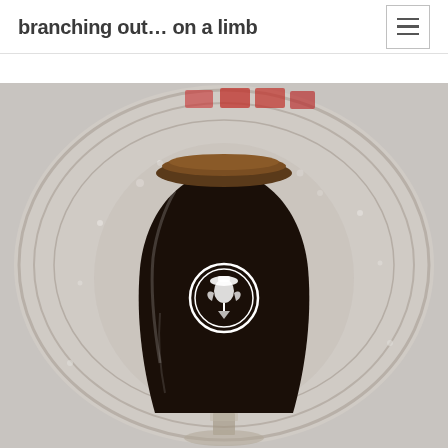branching out... on a limb
[Figure (photo): A dark stout beer in a tulip glass with a circular brewery logo (acorn/hop design in white) on the glass, set against a blurred background of a wooden barrel with red wax-sealed bottles.]